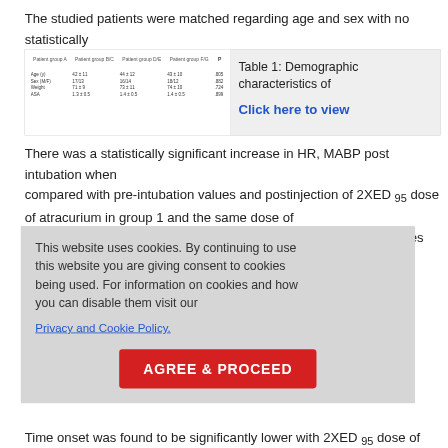The studied patients were matched regarding age and sex with no statistically significant differences recorded [Table 1].
[Figure (table-as-image): Thumbnail preview of Table 1 showing demographic characteristics data]
Table 1: Demographic characteristics of the studied patients. Click here to view
There was a statistically significant increase in HR, MABP post intubation when compared with pre-intubation values and postinjection of 2XED 95 dose of atracurium in group 1 and the same dose of cisatracurium in group 2. However, HR,MABP changes 5-20 minutes later were not statistically significant with administration of atracurium and cisatracurium.
This website uses cookies. By continuing to use this website you are giving consent to cookies being used. For information on cookies and how you can disable them visit our
Privacy and Cookie Policy.
AGREE & PROCEED
Time onset was found to be significantly lower with 2XED 95 dose of atracuriu...